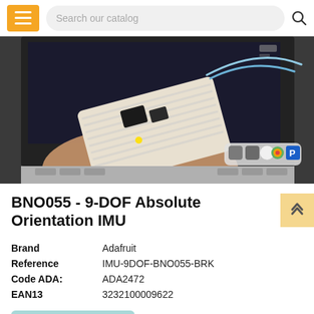Search our catalog
[Figure (photo): Person holding a breadboard with electronic components (IMU sensor board) in front of a laptop screen showing sensor data visualization software. The board has blue wires attached. The laptop shows a Mac OS dock with various application icons.]
BNO055 - 9-DOF Absolute Orientation IMU
| Brand | Adafruit |
| Reference | IMU-9DOF-BNO055-BRK |
| Code ADA: | ADA2472 |
| EAN13 | 3232100009622 |
Last items in stock